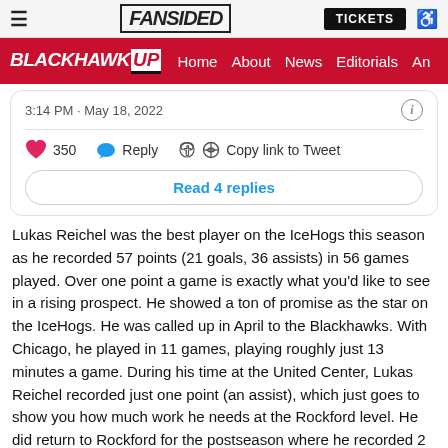FanSided | BLACKHAWK UP - Home About News Editorials An...
3:14 PM · May 18, 2022
350  Reply  Copy link to Tweet
Read 4 replies
Lukas Reichel was the best player on the IceHogs this season as he recorded 57 points (21 goals, 36 assists) in 56 games played. Over one point a game is exactly what you'd like to see in a rising prospect. He showed a ton of promise as the star on the IceHogs. He was called up in April to the Blackhawks. With Chicago, he played in 11 games, playing roughly just 13 minutes a game. During his time at the United Center, Lukas Reichel recorded just one point (an assist), which just goes to show you how much work he needs at the Rockford level. He did return to Rockford for the postseason where he recorded 2 goals in the 5 games they played.